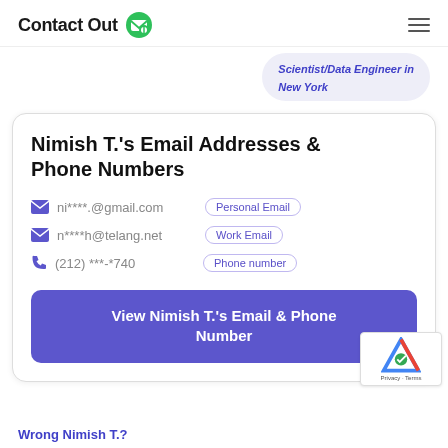ContactOut
Scientist/Data Engineer in New York
Nimish T.'s Email Addresses & Phone Numbers
ni****.@gmail.com  Personal Email
n****h@telang.net  Work Email
(212) ***-*740  Phone number
View Nimish T.'s Email & Phone Number
Wrong Nimish T.?